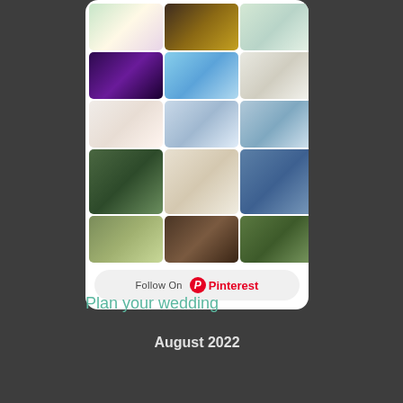[Figure (screenshot): Pinterest board widget showing a grid of wedding-themed photos with a Follow On Pinterest button]
Plan your wedding
August 2022